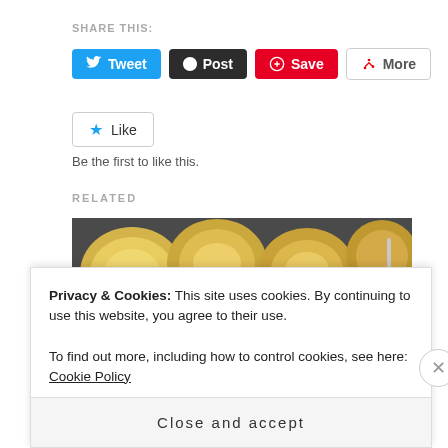SHARE THIS:
[Figure (screenshot): Social sharing buttons: Tweet (blue), Post (dark/black), Save (red/Pinterest), More (outlined)]
[Figure (screenshot): Like button with star icon and 'Like' label]
Be the first to like this.
RELATED
[Figure (photo): Photo of roasted potatoes and chicken/meat on a dark plate]
Privacy & Cookies: This site uses cookies. By continuing to use this website, you agree to their use.
To find out more, including how to control cookies, see here: Cookie Policy
Close and accept